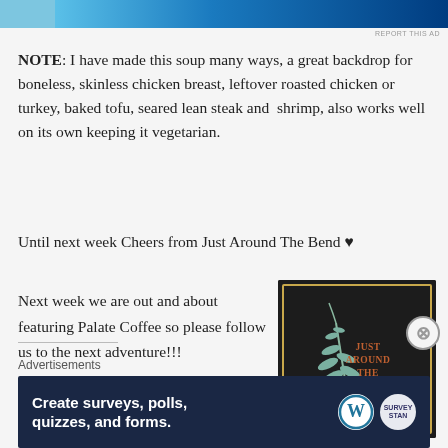[Figure (other): Top advertisement banner with blue gradient background]
REPORT THIS AD
NOTE: I have made this soup many ways, a great backdrop for boneless, skinless chicken breast, leftover roasted chicken or turkey, baked tofu, seared lean steak and  shrimp, also works well on its own keeping it vegetarian.
Until next week Cheers from Just Around The Bend ♥
Next week we are out and about featuring Palate Coffee so please follow us to the next adventure!!!
[Figure (logo): Just Around The Bend logo - dark square with botanical leaf illustration and text JUST AROUND THE BEND in orange]
Advertisements
[Figure (other): WordPress advertisement: Create surveys, polls, quizzes, and forms.]